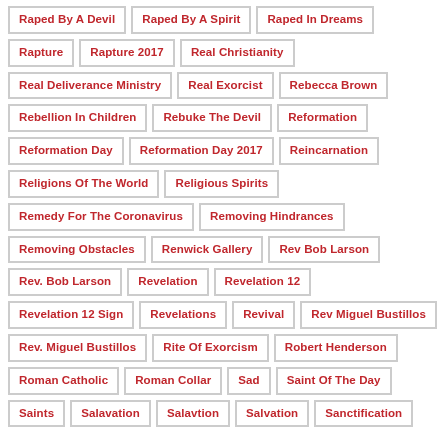Raped By A Devil
Raped By A Spirit
Raped In Dreams
Rapture
Rapture 2017
Real Christianity
Real Deliverance Ministry
Real Exorcist
Rebecca Brown
Rebellion In Children
Rebuke The Devil
Reformation
Reformation Day
Reformation Day 2017
Reincarnation
Religions Of The World
Religious Spirits
Remedy For The Coronavirus
Removing Hindrances
Removing Obstacles
Renwick Gallery
Rev Bob Larson
Rev. Bob Larson
Revelation
Revelation 12
Revelation 12 Sign
Revelations
Revival
Rev Miguel Bustillos
Rev. Miguel Bustillos
Rite Of Exorcism
Robert Henderson
Roman Catholic
Roman Collar
Sad
Saint Of The Day
Saints
Salavation
Salavtion
Salvation
Sanctification